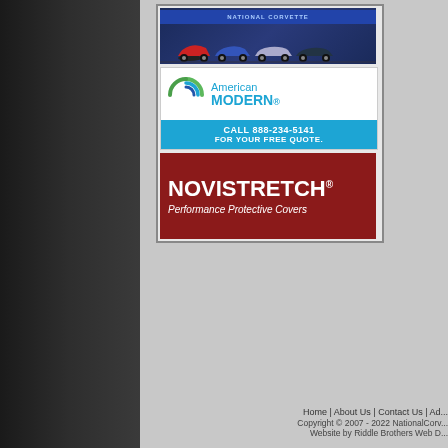[Figure (illustration): Car dealership advertisement with blue background and multiple car silhouettes]
[Figure (logo): American Modern insurance logo with swirl icon, blue and teal colors]
[Figure (infographic): American Modern call-to-action bar: CALL 888-234-5141 FOR YOUR FREE QUOTE. in blue]
[Figure (illustration): Novistretch Performance Protective Covers advertisement on red/dark red background]
Home | About Us | Contact Us | Ad... Copyright © 2007 - 2022 NationalCorv... Website by Riddle Brothers Web D...